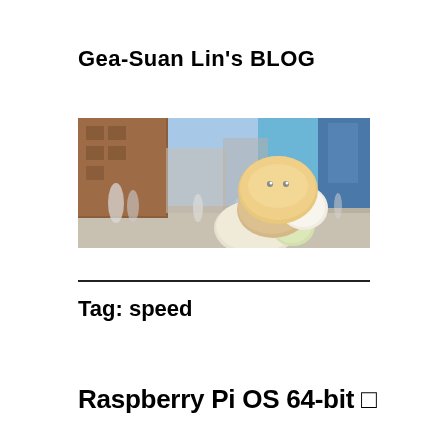Gea-Suan Lin's BLOG
[Figure (photo): Outdoor scene with large plush Sumikko Gurashi character toys stacked on a street, with blurred crowd and buildings in the background on a sunny day.]
Tag: speed
Raspberry Pi OS 64-bit 🔲